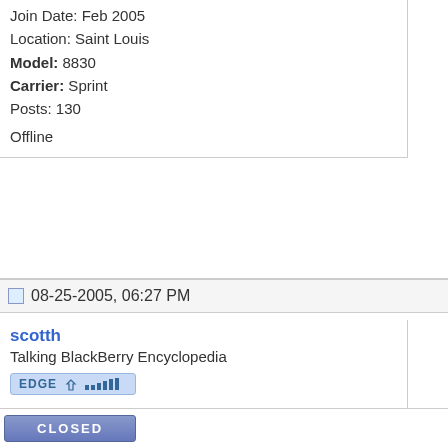Join Date: Feb 2005
Location: Saint Louis
Model: 8830
Carrier: Sprint
Posts: 130

Offline
08-25-2005, 06:27 PM
scotth
Talking BlackBerry Encyclopedia
Join Date: Dec 2004
Location: Washington State
Model: 9800
Carrier: AT&T
Posts: 294

Offline
CLOSED